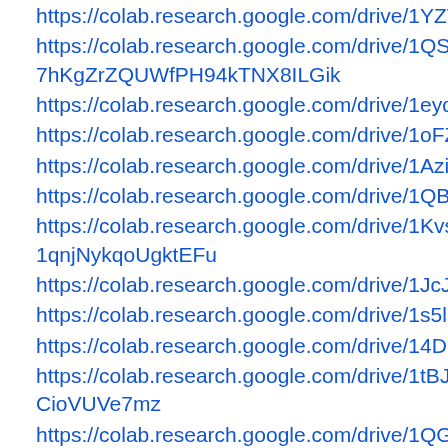https://colab.research.google.com/drive/1YZTKbPtQl8V58IJ2F
https://colab.research.google.com/drive/1QSBRmv-7hKgZrZQUWfPH94kTNX8ILGik
https://colab.research.google.com/drive/1eydNBl2bElpXB0Udis
https://colab.research.google.com/drive/1oFZJOCcrmc8FShWjb
https://colab.research.google.com/drive/1AziLedmu80zd0YHm
https://colab.research.google.com/drive/1QBTIeA0Q5SXlof4O3l
https://colab.research.google.com/drive/1KvsfraqEsDPqa26-1qnjNykqoUgktEFu
https://colab.research.google.com/drive/1JcJUvvrCQhIEs8nblrY
https://colab.research.google.com/drive/1s5lBNEbjBSga7cOi3C4
https://colab.research.google.com/drive/14DcEhEu0U36lryu8gH
https://colab.research.google.com/drive/1tBJFHw5AL4BAd5le5CioVUVe7mz
https://colab.research.google.com/drive/1QG-wira9Bl6lH2Kn6FD9Ozj85NryckIF
https://colab.research.google.com/drive/1MAEP-VKlIvJsfvWuYh9szOm3CD8N29ZJ
https://colab.research.google.com/drive/1hcEg53DunEMIyD8cfm